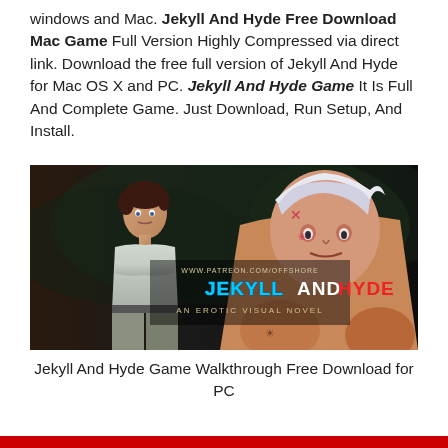windows and Mac. Jekyll And Hyde Free Download Mac Game Full Version Highly Compressed via direct link. Download the free full version of Jekyll And Hyde for Mac OS X and PC. Jekyll And Hyde Game It Is Full And Complete Game. Just Download, Run Setup, And Install.
[Figure (screenshot): Game cover image showing two characters with title text 'JEKYLL AND HYDE - AN EROTIC VISUAL NOVEL' and URL 'WWW.PATREON.COM/OFFSHORE']
Jekyll And Hyde Game Walkthrough Free Download for PC